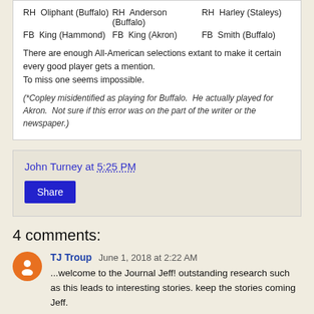| RH  Oliphant (Buffalo) | RH  Anderson (Buffalo) | RH  Harley (Staleys) |
| FB  King (Hammond) | FB  King (Akron) | FB  Smith (Buffalo) |
There are enough All-American selections extant to make it certain every good player gets a mention. To miss one seems impossible.
(*Copley misidentified as playing for Buffalo.  He actually played for Akron.  Not sure if this error was on the part of the writer or the newspaper.)
John Turney at 5:25 PM
Share
4 comments:
TJ Troup  June 1, 2018 at 2:22 AM
...welcome to the Journal Jeff! outstanding research such as this leads to interesting stories. keep the stories coming Jeff.
Reply